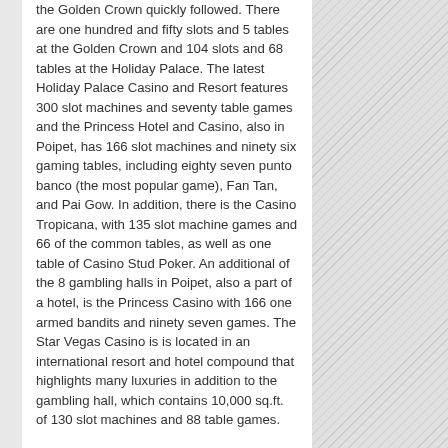the Golden Crown quickly followed. There are one hundred and fifty slots and 5 tables at the Golden Crown and 104 slots and 68 tables at the Holiday Palace. The latest Holiday Palace Casino and Resort features 300 slot machines and seventy table games and the Princess Hotel and Casino, also in Poipet, has 166 slot machines and ninety six gaming tables, including eighty seven punto banco (the most popular game), Fan Tan, and Pai Gow. In addition, there is the Casino Tropicana, with 135 slot machine games and 66 of the common tables, as well as one table of Casino Stud Poker. An additional of the 8 gambling halls in Poipet, also a part of a hotel, is the Princess Casino with 166 one armed bandits and ninety seven games. The Star Vegas Casino is is located in an international resort and hotel compound that highlights many luxuries in addition to the gambling hall, which contains 10,000 sq.ft. of 130 slot machines and 88 table games.